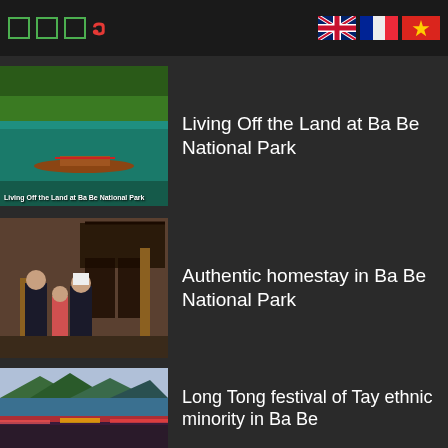Navigation icons and language flags (EN, FR, VN)
[Figure (photo): Lake scene with decorated boat at Ba Be National Park, green forested hills in background]
Living Off the Land at Ba Be National Park
[Figure (photo): Group of Tay ethnic minority women and child standing in front of traditional stilt house]
Authentic homestay in Ba Be National Park
[Figure (photo): Mountain lake landscape with colorful festival crowd in foreground]
Long Tong festival of Tay ethnic minority in Ba Be